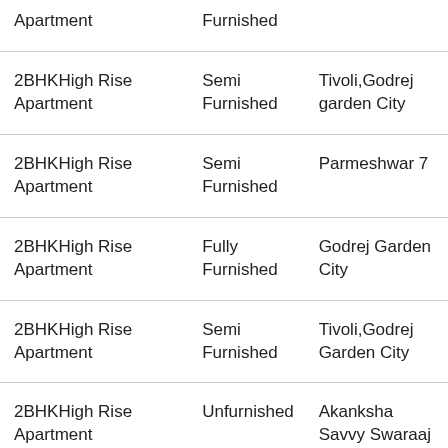| Property Type | Furnishing | Society |
| --- | --- | --- |
| Apartment | Furnished |  |
| 2BHKHigh Rise Apartment | Semi Furnished | Tivoli,Godrej garden City |
| 2BHKHigh Rise Apartment | Semi Furnished | Parmeshwar 7 |
| 2BHKHigh Rise Apartment | Fully Furnished | Godrej Garden City |
| 2BHKHigh Rise Apartment | Semi Furnished | Tivoli,Godrej Garden City |
| 2BHKHigh Rise Apartment | Unfurnished | Akanksha Savvy Swaraaj |
| 2BHKHigh Rise Apartment | Unfurnished | Eden,Godrej Garden City |